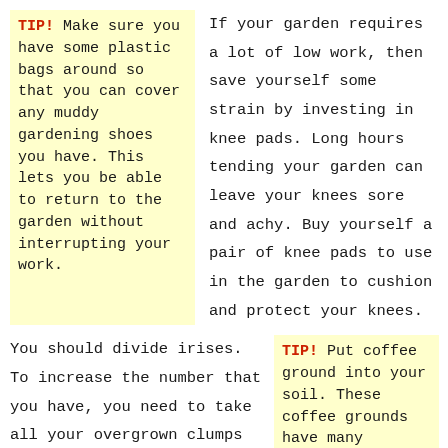TIP! Make sure you have some plastic bags around so that you can cover any muddy gardening shoes you have. This lets you be able to return to the garden without interrupting your work.
If your garden requires a lot of low work, then save yourself some strain by investing in knee pads. Long hours tending your garden can leave your knees sore and achy. Buy yourself a pair of knee pads to use in the garden to cushion and protect your knees.
You should divide irises. To increase the number that you have, you need to take all your overgrown clumps and split them up. Lift the dead bulbous irises. The bulbs will automatically split in you hand, and will likely flower the year after being replanted. For plants
TIP! Put coffee ground into your soil. These coffee grounds have many nitrogenous nutrients that your plants could use.